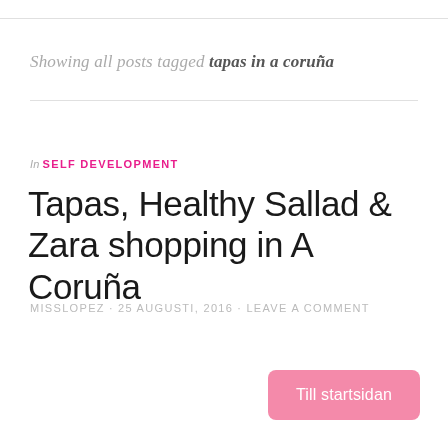Showing all posts tagged tapas in a coruña
In SELF DEVELOPMENT
Tapas, Healthy Sallad & Zara shopping in A Coruña
MISSLOPEZ · 25 AUGUSTI, 2016 · LEAVE A COMMENT
Till startsidan